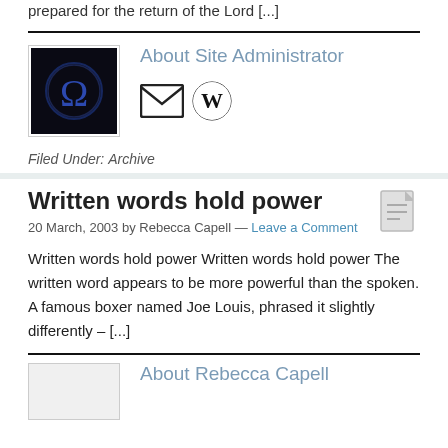prepared for the return of the Lord [...]
[Figure (illustration): Black square icon with glowing blue Omega symbol]
About Site Administrator
[Figure (infographic): Gmail envelope icon and WordPress logo icon]
Filed Under: Archive
Written words hold power
20 March, 2003 by Rebecca Capell — Leave a Comment
[Figure (illustration): Document/page icon (grey)]
Written words hold power Written words hold power The written word appears to be more powerful than the spoken. A famous boxer named Joe Louis, phrased it slightly differently – […]
About Rebecca Capell
[Figure (photo): Small author avatar photo, partially visible]